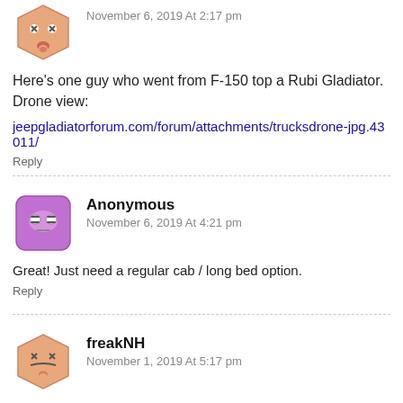[Figure (illustration): User avatar - peach/orange hexagon cartoon face with X eyes and tongue out]
November 6, 2019 At 2:17 pm
Here's one guy who went from F-150 top a Rubi Gladiator. Drone view:
jeepgladiatorforum.com/forum/attachments/trucksdrone-jpg.43011/
Reply
[Figure (illustration): User avatar - purple square cartoon face with glasses]
Anonymous
November 6, 2019 At 4:21 pm
Great! Just need a regular cab / long bed option.
Reply
[Figure (illustration): User avatar - peach hexagon cartoon face with angry expression and tongue out]
freakNH
November 1, 2019 At 5:17 pm
Stick is available, however if I recall correctly, tow